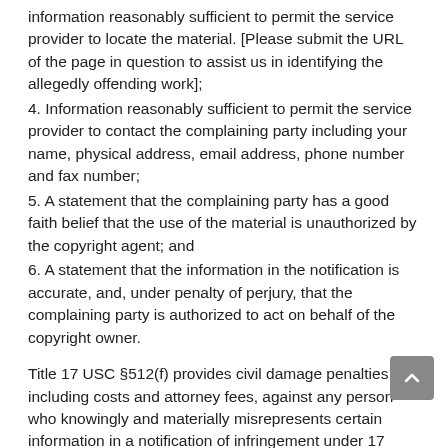information reasonably sufficient to permit the service provider to locate the material. [Please submit the URL of the page in question to assist us in identifying the allegedly offending work];
4. Information reasonably sufficient to permit the service provider to contact the complaining party including your name, physical address, email address, phone number and fax number;
5. A statement that the complaining party has a good faith belief that the use of the material is unauthorized by the copyright agent; and
6. A statement that the information in the notification is accurate, and, under penalty of perjury, that the complaining party is authorized to act on behalf of the copyright owner.
Title 17 USC §512(f) provides civil damage penalties, including costs and attorney fees, against any person who knowingly and materially misrepresents certain information in a notification of infringement under 17 USC §512(c)(3).
Send all takedown notices through our Contact page. Please